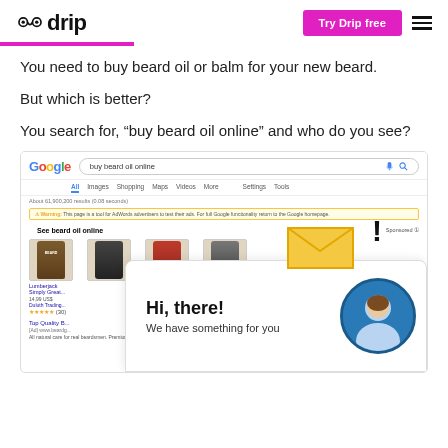drip — Try Drip free
You need to buy beard oil or balm for your new beard.
But which is better?
You search for, “buy beard oil online” and who do you see?
[Figure (screenshot): Screenshot of a Google search results page for 'buy beard oil online' showing sponsored product listings for beard oil products, with a chat popup overlay saying 'Hi, there! We have something for you' with an avatar and envelope graphic.]